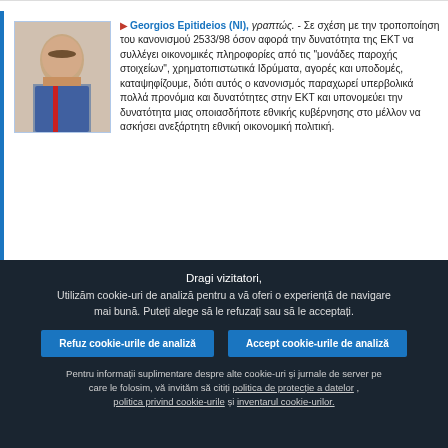[Figure (photo): Portrait photo of Georgios Epitideios, an older man in a suit with a red tie]
Georgios Epitideios (NI), γραπτώς. - Σε σχέση με την τροποποίηση του κανονισμού 2533/98 όσον αφορά την δυνατότητα της ΕΚΤ να συλλέγει οικονομικές πληροφορίες από τις "μονάδες παροχής στοιχείων", χρηματοπιστωτικά Ιδρύματα, αγορές και υποδομές, καταψηφίζουμε, διότι αυτός ο κανονισμός παραχωρεί υπερβολικά πολλά προνόμια και δυνατότητες στην ΕΚΤ και υπονομεύει την δυνατότητα μιας οποιασδήποτε εθνικής κυβέρνησης στο μέλλον να ασκήσει ανεξάρτητη εθνική οικονομική πολιτική.
[Figure (photo): Partial portrait photo of second speaker]
Jonás Fernández (S&D), por escrito. - Ha dado mi apoyo a
Dragi vizitatori,
Utilizăm cookie-uri de analiză pentru a vă oferi o experiență de navigare mai bună. Puteți alege să le refuzați sau să le acceptați.
Refuz cookie-urile de analiză | Accept cookie-urile de analiză
Pentru informații suplimentare despre alte cookie-uri și jurnale de server pe care le folosim, vă invităm să citiți politica de protecție a datelor , politica privind cookie-urile și inventarul cookie-urilor.